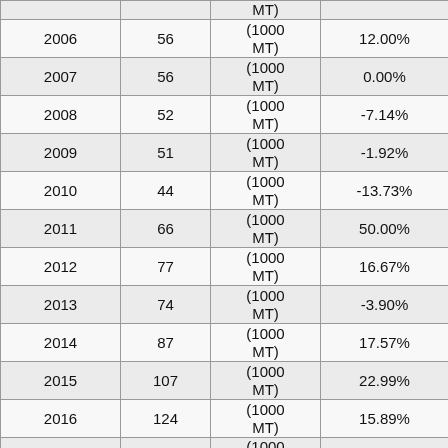| Year | Value | Unit | Change% |
| --- | --- | --- | --- |
| 2006 | 56 | (1000 MT) | 12.00% |
| 2007 | 56 | (1000 MT) | 0.00% |
| 2008 | 52 | (1000 MT) | -7.14% |
| 2009 | 51 | (1000 MT) | -1.92% |
| 2010 | 44 | (1000 MT) | -13.73% |
| 2011 | 66 | (1000 MT) | 50.00% |
| 2012 | 77 | (1000 MT) | 16.67% |
| 2013 | 74 | (1000 MT) | -3.90% |
| 2014 | 87 | (1000 MT) | 17.57% |
| 2015 | 107 | (1000 MT) | 22.99% |
| 2016 | 124 | (1000 MT) | 15.89% |